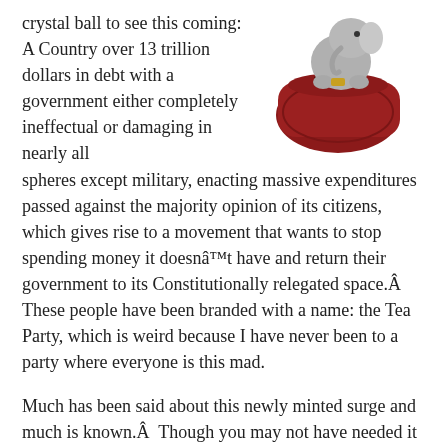[Figure (illustration): An illustration of an elephant sitting on or near a red bag or suitcase, partially cropped at top of page]
crystal ball to see this coming: A Country over 13 trillion dollars in debt with a government either completely ineffectual or damaging in nearly all spheres except military, enacting massive expenditures passed against the majority opinion of its citizens, which gives rise to a movement that wants to stop spending money it doesnât have and return their government to its Constitutionally relegated space.Â These people have been branded with a name: the Tea Party, which is weird because I have never been to a party where everyone is this mad.
Much has been said about this newly minted surge and much is known.Â  Though you may not have needed it to see it coming, that crystal ball sure could come in handy when trying to envision how the Tea Party will